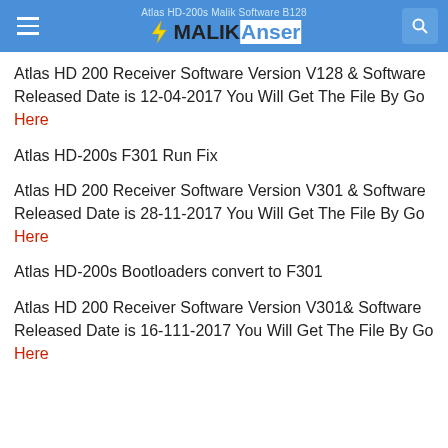Atlas HD-200s Malik Software B128 — MalikAnser
Atlas HD 200 Receiver Software Version V128 & Software Released Date is 12-04-2017 You Will Get The File By Go Here
Atlas HD-200s F301 Run Fix
Atlas HD 200 Receiver Software Version V301 & Software Released Date is 28-11-2017 You Will Get The File By Go Here
Atlas HD-200s Bootloaders convert to F301
Atlas HD 200 Receiver Software Version V301& Software Released Date is 16-111-2017 You Will Get The File By Go Here